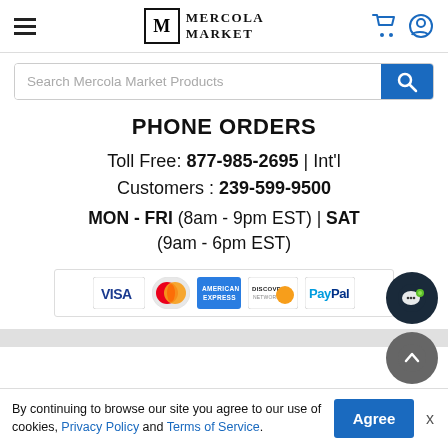Mercola Market
Search Mercola Market Products
PHONE ORDERS
Toll Free: 877-985-2695 | Int'l Customers : 239-599-9500
MON - FRI (8am - 9pm EST) | SAT (9am - 6pm EST)
[Figure (other): Payment method logos: VISA, MasterCard, American Express, Discover, PayPal]
By continuing to browse our site you agree to our use of cookies, Privacy Policy and Terms of Service.